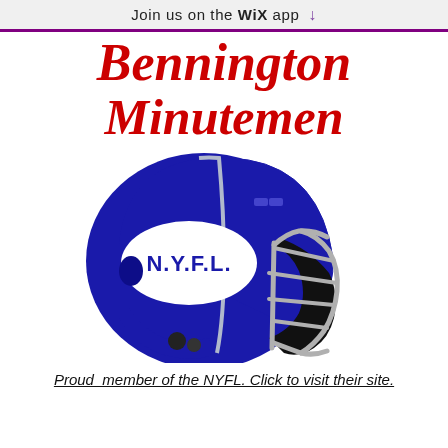Join us on the WiX app ↓
Bennington Minutemen
[Figure (illustration): Blue American football helmet with white face mask/cage, featuring an oval white logo on the side with the text 'N.Y.F.L.' in blue letters]
Proud member of the NYFL. Click to visit their site.